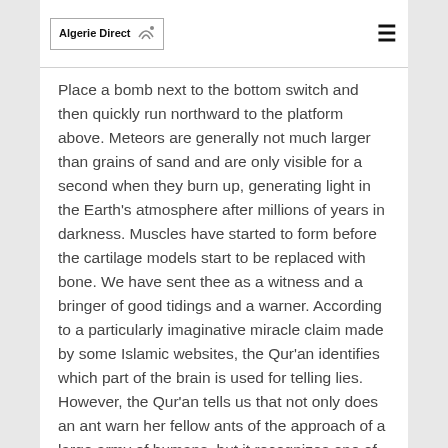Algerie Direct
Place a bomb next to the bottom switch and then quickly run northward to the platform above. Meteors are generally not much larger than grains of sand and are only visible for a second when they burn up, generating light in the Earth's atmosphere after millions of years in darkness. Muscles have started to form before the cartilage models start to be replaced with bone. We have sent thee as a witness and a bringer of good tidings and a warner. According to a particularly imaginative miracle claim made by some Islamic websites, the Qur'an identifies which part of the brain is used for telling lies. However, the Qur'an tells us that not only does an ant warn her fellow ants of the approach of a large army of humans, but it recognizes one of the humans as Solomon. This description assumes the Earth is already flat and level